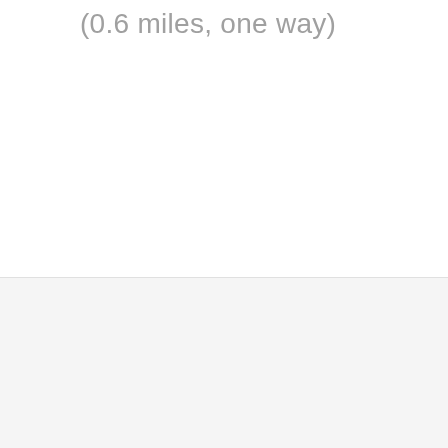(0.6 miles, one way)
[Figure (other): Light gray rectangular panel at the bottom of the page, likely a footer or image placeholder area]